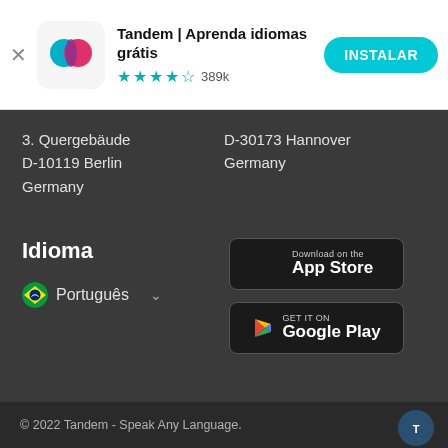[Figure (screenshot): App store advertisement banner for Tandem language learning app with icon, 4.5 star rating with 389k reviews, and INSTALAR (install) button]
3. Quergebäude
D-10119 Berlin
Germany
D-30173 Hannover
Germany
Idioma
Português
[Figure (screenshot): Download on the App Store button]
[Figure (screenshot): GET IT ON Google Play button]
© 2022 Tandem - Speak Any Language.